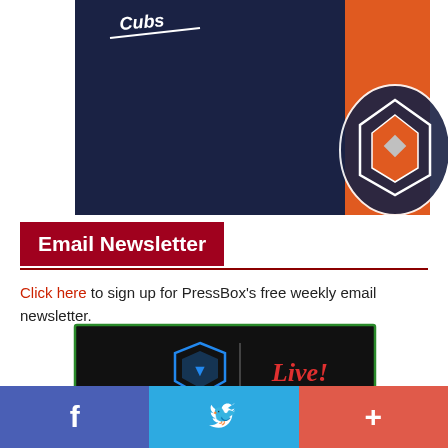[Figure (photo): Sports graphic with dark navy blue background and orange stripe on the right side with a partial NHL Oilers-style shield logo]
Email Newsletter
Click here to sign up for PressBox's free weekly email newsletter.
[Figure (photo): Dark background image with a blue shield icon and red cursive 'Live!' text on a dark background with green border]
[Figure (infographic): Social share bar with Facebook (blue), Twitter (light blue), and plus/share (red-orange) buttons]